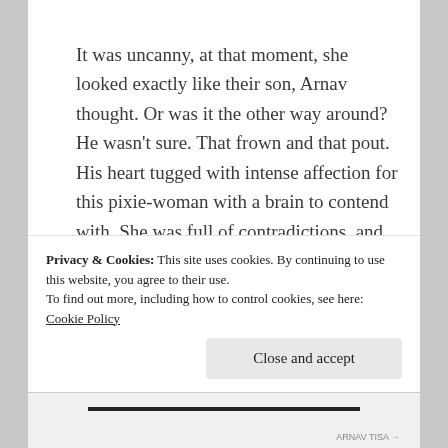It was uncanny, at that moment, she looked exactly like their son, Arnav thought. Or was it the other way around? He wasn't sure. That frown and that pout. His heart tugged with intense affection for this pixie-woman with a brain to contend with. She was full of contradictions, and she was his good friend. But at this moment, she was fixated on his explanation. And from the look on her face, she wasn't going to let this conversation go.
Privacy & Cookies: This site uses cookies. By continuing to use this website, you agree to their use.
To find out more, including how to control cookies, see here: Cookie Policy